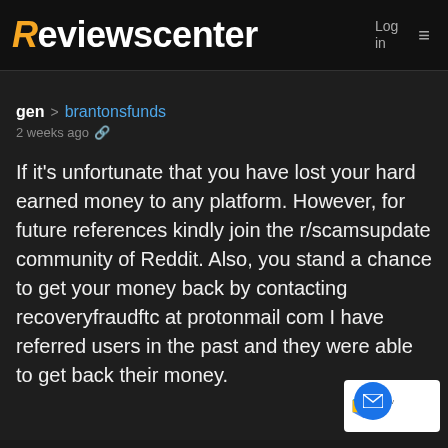Reviewscenter — Log in
gen > brantonsfunds
2 weeks ago
If it's unfortunate that you have lost your hard earned money to any platform. However, for future references kindly join the r/scamsupdate community of Reddit. Also, you stand a chance to get your money back by contacting recoveryfraudftc at protonmail com I have referred users in the past and they were able to get back their money.